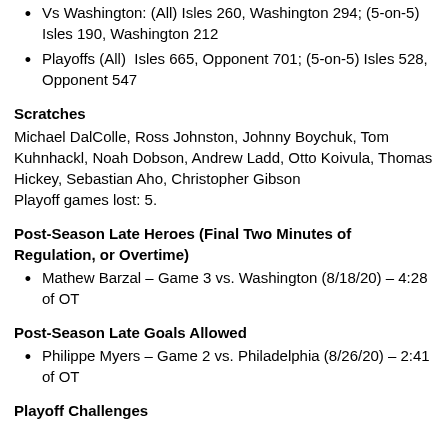Vs Washington: (All) Isles 260, Washington 294; (5-on-5) Isles 190, Washington 212
Playoffs (All)  Isles 665, Opponent 701; (5-on-5) Isles 528, Opponent 547
Scratches
Michael DalColle, Ross Johnston, Johnny Boychuk, Tom Kuhnhackl, Noah Dobson, Andrew Ladd, Otto Koivula, Thomas Hickey, Sebastian Aho, Christopher Gibson
Playoff games lost: 5.
Post-Season Late Heroes (Final Two Minutes of Regulation, or Overtime)
Mathew Barzal – Game 3 vs. Washington (8/18/20) – 4:28 of OT
Post-Season Late Goals Allowed
Philippe Myers – Game 2 vs. Philadelphia (8/26/20) – 2:41 of OT
Playoff Challenges